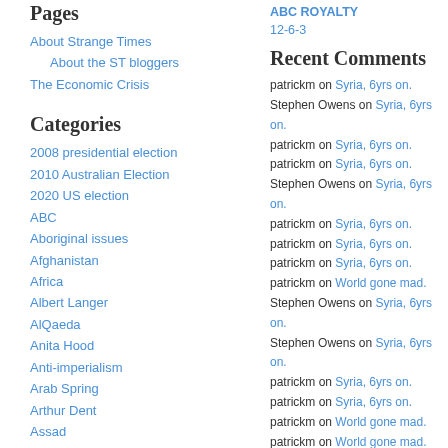Pages
About Strange Times
About the ST bloggers
The Economic Crisis
Categories
2008 presidential election
2010 Australian Election
2020 US election
ABC
Aboriginal issues
Afghanistan
Africa
Albert Langer
AlQaeda
Anita Hood
Anti-imperialism
Arab Spring
Arthur Dent
Assad
Australia/Muslims
Australian electoral politics
Ayaan Hirsi Ali
Bangui
Barack Obama
Barry York
ABC ROYALTY
12-6-3
Recent Comments
patrickm on Syria, 6yrs on.
Stephen Owens on Syria, 6yrs on.
patrickm on Syria, 6yrs on.
patrickm on Syria, 6yrs on.
Stephen Owens on Syria, 6yrs on.
patrickm on Syria, 6yrs on.
patrickm on Syria, 6yrs on.
patrickm on Syria, 6yrs on.
patrickm on World gone mad.
Stephen Owens on Syria, 6yrs on.
Stephen Owens on Syria, 6yrs on.
patrickm on Syria, 6yrs on.
patrickm on Syria, 6yrs on.
patrickm on World gone mad.
patrickm on World gone mad.
Blogroll
Bill Kerr Blog
C21st Left
Closely Associated Sites
Bill Kerr Blog